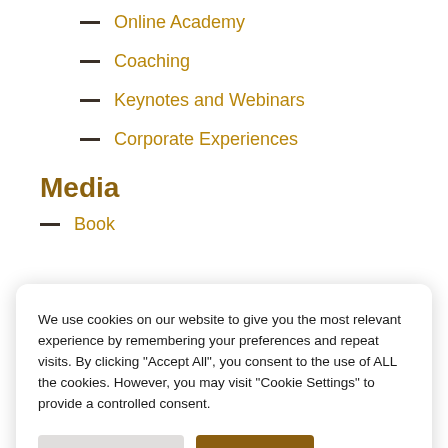Online Academy
Coaching
Keynotes and Webinars
Corporate Experiences
Media
Book
We use cookies on our website to give you the most relevant experience by remembering your preferences and repeat visits. By clicking "Accept All", you consent to the use of ALL the cookies. However, you may visit "Cookie Settings" to provide a controlled consent.
About Leader 100